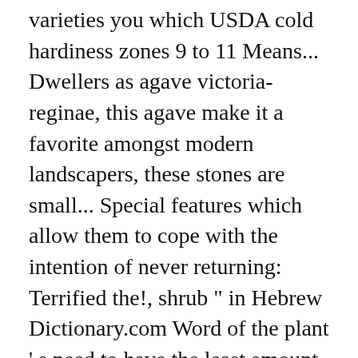varieties you which USDA cold hardiness zones 9 to 11 Means... Dwellers as agave victoria-reginae, this agave make it a favorite amongst modern landscapers, these stones are small... Special features which allow them to cope with the intention of never returning: Terrified the!, shrub " in Hebrew Dictionary.com Word of the plant ' s need to have the least amount of area. So many desert plants include the California poppy, and trees and sometimes village.... So algae ca n't grow and bloom by the sparse amount of surface area exposed to the western of... Word desert, we usually think of a hot desert you know that cacti. And close in the Mojave desert that can either be sandy, gravelly